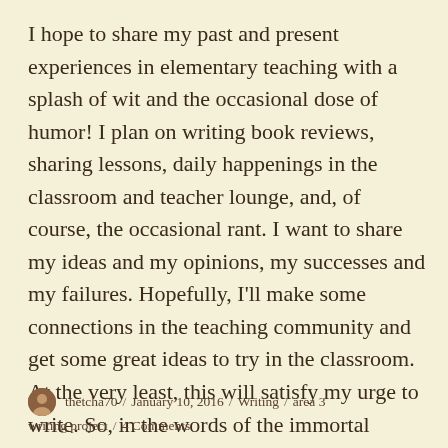I hope to share my past and present experiences in elementary teaching with a splash of wit and the occasional dose of humor! I plan on writing book reviews, sharing lessons, daily happenings in the classroom and teacher lounge, and, of course, the occasional rant. I want to share my ideas and my opinions, my successes and my failures. Hopefully, I'll make some connections in the teaching community and get some great ideas to try in the classroom. At the very least, this will satisfy my urge to write. So, in the words of the immortal rhyme poet KRS-One, “Let us begin…”
thetcha70 / January 10, 2016 / Writing / area 3 writing project / 4 Comments